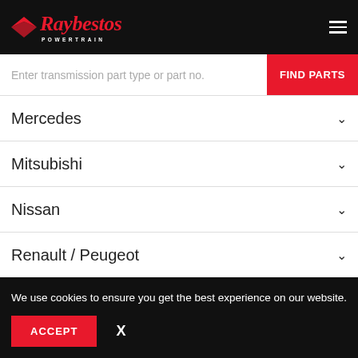Raybestos Powertrain — Navigation header with hamburger menu
Enter transmission part type or part no.
FIND PARTS
Mercedes
Mitsubishi
Nissan
Renault / Peugeot
Saturn
Subaru
We use cookies to ensure you get the best experience on our website.
ACCEPT
X